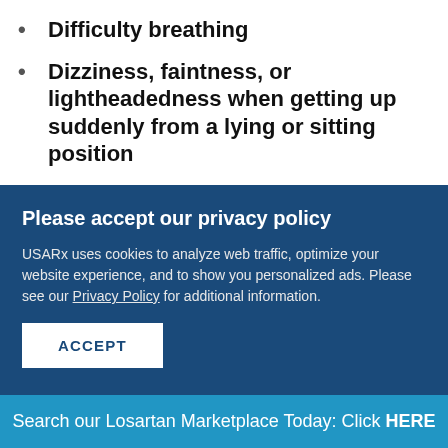Difficulty breathing
Dizziness, faintness, or lightheadedness when getting up suddenly from a lying or sitting position
Fast heart rate, irregular heartbeat or chest
Please accept our privacy policy
USARx uses cookies to analyze web traffic, optimize your website experience, and to show you personalized ads. Please see our Privacy Policy for additional information.
ACCEPT
Search our Losartan Marketplace Today: Click HERE